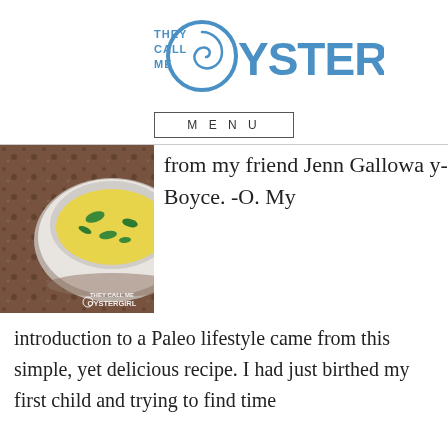[Figure (logo): They Call Me Oystergirl logo with blue swirl O and text]
MENU
[Figure (photo): A baked egg dish in a white ramekin on a granite countertop, with They Call Me Oystergirl watermark]
from my friend Jenn Galloway-Boyce. -O. My introduction to a Paleo lifestyle came from this simple, yet delicious recipe. I had just birthed my first child and trying to find time